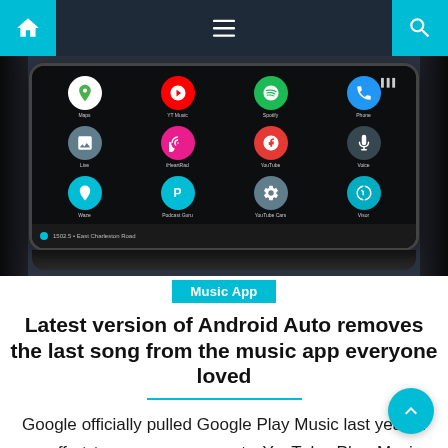Navigation bar with home, menu, and search icons
[Figure (photo): Android Auto interface displayed on a car dashboard touchscreen, showing app icons including Google Maps, YouTube Music, Spotify, Phone, Photos, Podcasts, Google, Maps, and Waze arranged in a grid on a dark screen]
Music App
Latest version of Android Auto removes the last song from the music app everyone loved
Google officially pulled Google Play Music last year in an effort to move everyone to YouTube Play Music, and since then the company has been working to make the transition